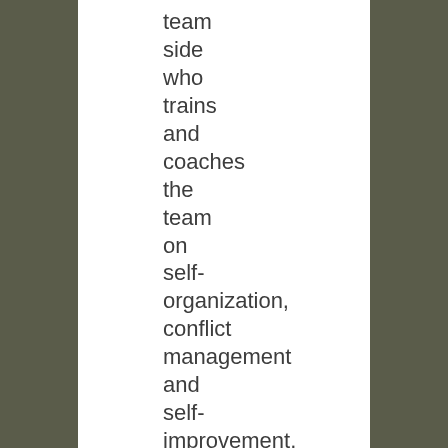team side who trains and coaches the team on self-organization, conflict management and self-improvement. The doubts on the ScrumMaster side